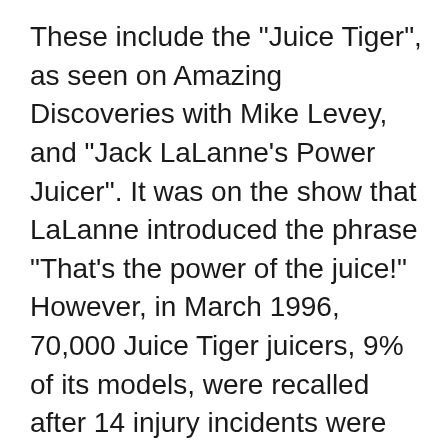These include the "Juice Tiger", as seen on Amazing Discoveries with Mike Levey, and "Jack LaLanne's Power Juicer". It was on the show that LaLanne introduced the phrase "That's the power of the juice!" However, in March 1996, 70,000 Juice Tiger juicers, 9% of its models, were recalled after 14 injury incidents were reported. I have a Jack LaLanne Power Juicer (JLS-88) for sale for $65. The juicer is in excellent working condition, and 1 year old after having been rarely used. I have attached a picture of it and it is available for pickup in Whitby near Brock Street and the 401 (2 minutes drive from exit 410). If interested,